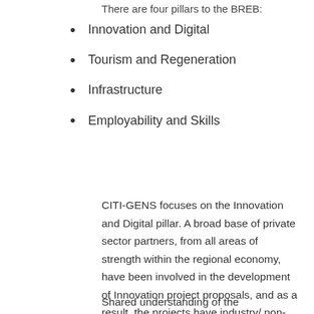There are four pillars to the BREB:
Innovation and Digital
Tourism and Regeneration
Infrastructure
Employability and Skills
CITI-GENS focuses on the Innovation and Digital pillar. A broad base of private sector partners, from all areas of strength within the regional economy, have been involved in the development of Innovation project proposals, and as a result, the projects have industry/ non-HEI needs at their core.
Shared understanding of the opportunities